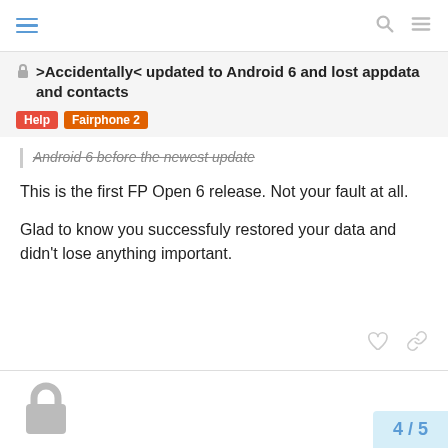>Accidentally< updated to Android 6 and lost appdata and contacts
Help  Fairphone 2
Android 6 before the newest update
This is the first FP Open 6 release. Not your fault at all.
Glad to know you successfuly restored your data and didn't lose anything important.
4 / 5